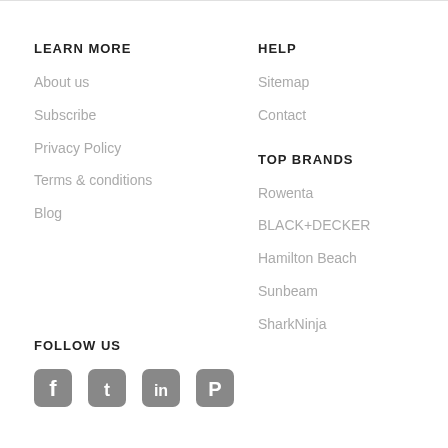LEARN MORE
About us
Subscribe
Privacy Policy
Terms & conditions
Blog
HELP
Sitemap
Contact
TOP BRANDS
Rowenta
BLACK+DECKER
Hamilton Beach
Sunbeam
SharkNinja
FOLLOW US
[Figure (other): Social media icons: Facebook, Twitter, LinkedIn, Pinterest]